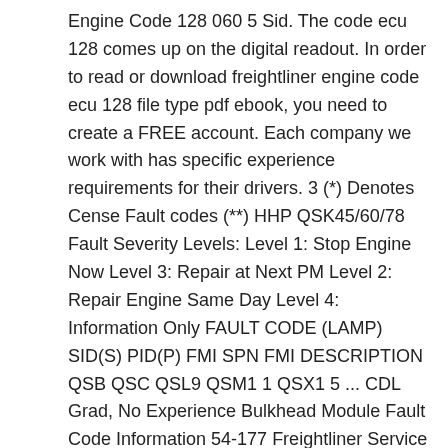Engine Code 128 060 5 Sid. The code ecu 128 comes up on the digital readout. In order to read or download freightliner engine code ecu 128 file type pdf ebook, you need to create a FREE account. Each company we work with has specific experience requirements for their drivers. 3 (*) Denotes Cense Fault codes (**) HHP QSK45/60/78 Fault Severity Levels: Level 1: Stop Engine Now Level 3: Repair at Next PM Level 2: Repair Engine Same Day Level 4: Information Only FAULT CODE (LAMP) SID(S) PID(P) FMI SPN FMI DESCRIPTION QSB QSC QSL9 QSM1 1 QSX1 5 ... CDL Grad, No Experience Bulkhead Module Fault Code Information 54-177 Freightliner Service Bulletin FLA COE FLB COE FLD Conventional Business Class FLC 112 Conventional Century Class Conventional Argosy COE Cargo Columbia Condor Coronado > Business Class M2 Freightliner Service Bulletin, November 2003 Page 3. What does this mean. Freightliner columbia 2008 engine detriot